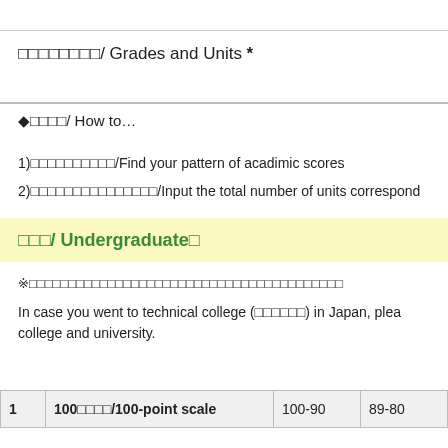成績・単位/ Grades and Units *
◆入力方法/ How to…
1)成績のパターンを確認する/Find your pattern of acadimic scores
2)各パターンに該当する合計単位数を入力/Input the total number of units correspond
学部/ Undergraduate生
※日本の短期大学出身者は、下記の学部卒の成績入力欄に入力してください。
In case you went to technical college (高等専門学校) in Japan, please select both technical college and university.
|  | 100点満点/100-point scale | 100-90 | 89-80 |
| --- | --- | --- | --- |
| 1 | 100点満点/100-point scale | 100-90 | 89-80 |